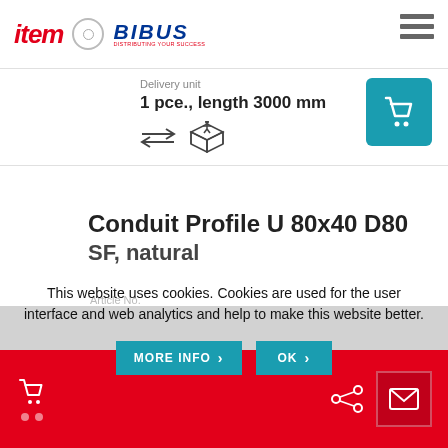[Figure (logo): item and BIBUS logos with hamburger menu icon]
Delivery unit
1 pce., length 3000 mm
[Figure (illustration): Two icons: arrows (cut-to-length) and 3D box symbol]
[Figure (illustration): Shopping cart button (teal)]
[Figure (photo): Product image of U conduit profile]
Conduit Profile U 80x40 D80
SF, natural
This website uses cookies. Cookies are used for the user interface and web analytics and help to make this website better.
[Figure (screenshot): MORE INFO and OK buttons]
[Figure (logo): Footer with red background, envelope/mail icon]